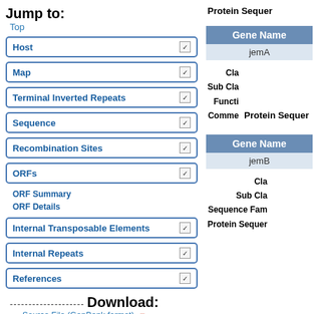Jump to:
Top
Host ✓
Map ✓
Terminal Inverted Repeats ✓
Sequence ✓
Recombination Sites ✓
ORFs ✓
ORF Summary
ORF Details
Internal Transposable Elements ✓
Internal Repeats ✓
References ✓
--------------------
Download:
Source File (GenBank format) ↓
Sequence File (FASTA format) ↓
Protein Sequer
| Gene Name |
| --- |
| jemA |
Cla
Sub Cla
Functi
Comme
Protein Sequer
| Gene Name |
| --- |
| jemB |
Cla
Sub Cla
Sequence Fam
Protein Sequer